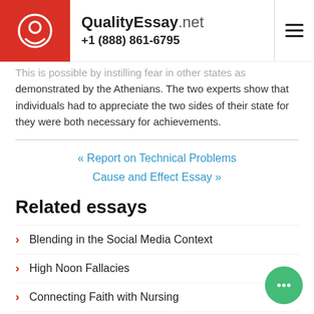QualityEssay.net +1 (888) 861-6795
This is possible by instilling fear in other states as demonstrated by the Athenians. The two experts show that individuals had to appreciate the two sides of their state for they were both necessary for achievements.
« Report on Technical Problems
Cause and Effect Essay »
Related essays
Blending in the Social Media Context
High Noon Fallacies
Connecting Faith with Nursing